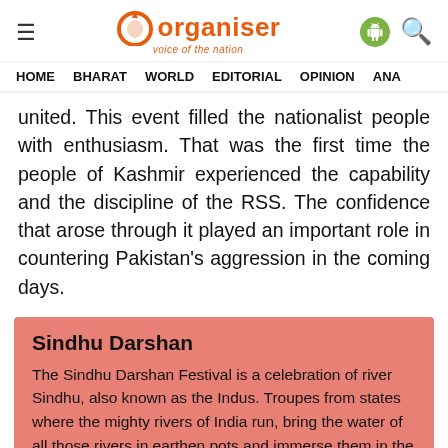Organiser — voice of the nation
HOME   BHARAT   WORLD   EDITORIAL   OPINION   ANA
united. This event filled the nationalist people with enthusiasm. That was the first time the people of Kashmir experienced the capability and the discipline of the RSS. The confidence that arose through it played an important role in countering Pakistan's aggression in the coming days.
Sindhu Darshan
The Sindhu Darshan Festival is a celebration of river Sindhu, also known as the Indus. Troupes from states where the mighty rivers of India run, bring the water of all those rivers in earthen pots and immerse them in the river Indus.